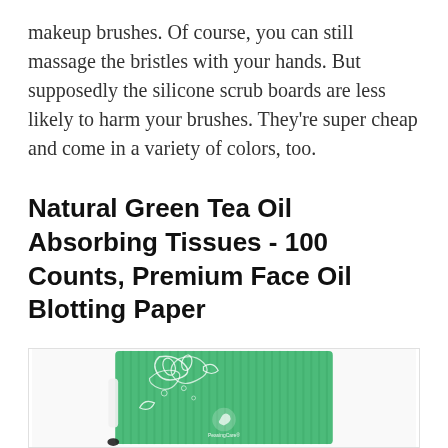makeup brushes. Of course, you can still massage the bristles with your hands. But supposedly the silicone scrub boards are less likely to harm your brushes. They're super cheap and come in a variety of colors, too.
Natural Green Tea Oil Absorbing Tissues - 100 Counts, Premium Face Oil Blotting Paper
[Figure (photo): Product photo of a green-striped box of PeasingCare Natural Green Tea Oil Absorbing Face Oil Blotting Paper with decorative white floral leaf design on the front.]